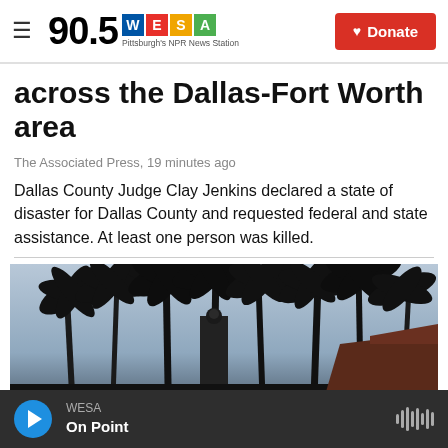90.5 WESA — Pittsburgh's NPR News Station | Donate
across the Dallas-Fort Worth area
The Associated Press,  19 minutes ago
Dallas County Judge Clay Jenkins declared a state of disaster for Dallas County and requested federal and state assistance. At least one person was killed.
[Figure (photo): Silhouette of tall palm trees against a dusky sky with a building tower visible in the background.]
WESA — On Point (audio player bar)